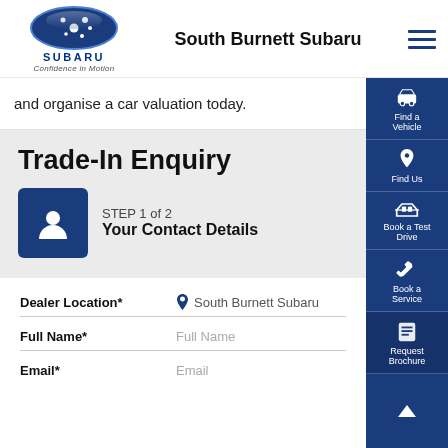[Figure (logo): Subaru logo with oval emblem, SUBARU wordmark, and 'Confidence in Motion' tagline]
South Burnett Subaru
and organise a car valuation today.
Trade-In Enquiry
STEP 1 of 2
Your Contact Details
Dealer Location*	South Burnett Subaru
Full Name*	Full Name
Email*	Email